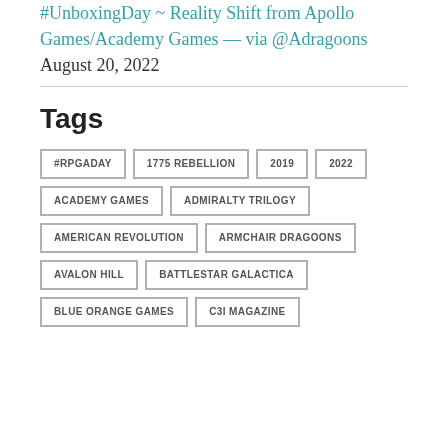#UnboxingDay ~ Reality Shift from Apollo Games/Academy Games — via @Adragoons August 20, 2022
Tags
#RPGADAY
1775 REBELLION
2019
2022
ACADEMY GAMES
ADMIRALTY TRILOGY
AMERICAN REVOLUTION
ARMCHAIR DRAGOONS
AVALON HILL
BATTLESTAR GALACTICA
BLUE ORANGE GAMES
C3I MAGAZINE